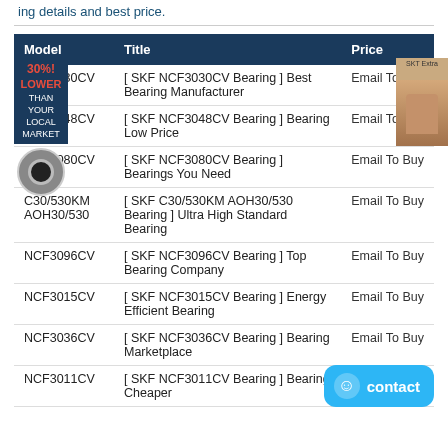ing details and best price.
| Model | Title | Price |
| --- | --- | --- |
| NCF3030CV | [ SKF NCF3030CV Bearing ] Best Bearing Manufacturer | Email To Buy |
| NCF3048CV | [ SKF NCF3048CV Bearing ] Bearing Low Price | Email To Buy |
| NCF3080CV | [ SKF NCF3080CV Bearing ] Bearings You Need | Email To Buy |
| C30/530KM AOH30/530 | [ SKF C30/530KM AOH30/530 Bearing ] Ultra High Standard Bearing | Email To Buy |
| NCF3096CV | [ SKF NCF3096CV Bearing ] Top Bearing Company | Email To Buy |
| NCF3015CV | [ SKF NCF3015CV Bearing ] Energy Efficient Bearing | Email To Buy |
| NCF3036CV | [ SKF NCF3036CV Bearing ] Bearing Marketplace | Email To Buy |
| NCF3011CV | [ SKF NCF3011CV Bearing ] Bearing Cheaper | E... |